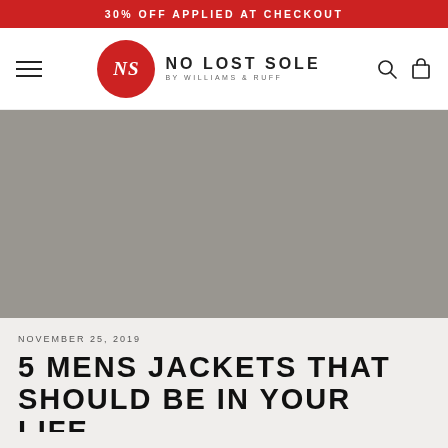30% OFF APPLIED AT CHECKOUT
[Figure (logo): No Lost Sole by Williams & Ruff logo with red circle NS monogram]
[Figure (photo): Hero image placeholder in grey]
NOVEMBER 25, 2019
5 MENS JACKETS THAT SHOULD BE IN YOUR LIFE